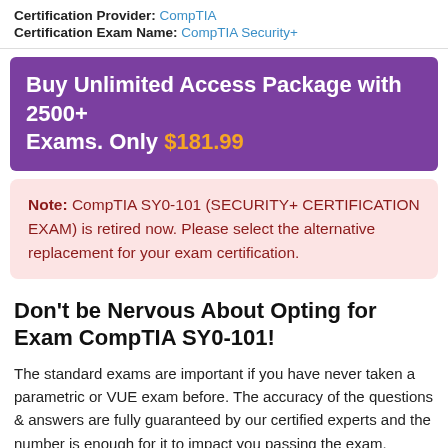Certification Provider: CompTIA
Certification Exam Name: CompTIA Security+
Buy Unlimited Access Package with 2500+ Exams. Only $181.99
Note: CompTIA SY0-101 (SECURITY+ CERTIFICATION EXAM) is retired now. Please select the alternative replacement for your exam certification.
Don't be Nervous About Opting for Exam CompTIA SY0-101!
The standard exams are important if you have never taken a parametric or VUE exam before. The accuracy of the questions & answers are fully guaranteed by our certified experts and the number is enough for it to impact you passing the exam. DumpsArena.com